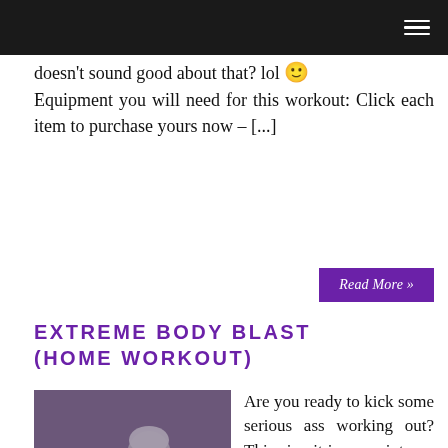Navigation bar
doesn't sound good about that? lol 🙂 Equipment you will need for this workout: Click each item to purchase yours now – [...]
Read More »
EXTREME BODY BLAST (HOME WORKOUT)
[Figure (photo): A woman working out in a gym using exercise equipment, black and white toned image]
Are you ready to kick some serious ass working out? This circuit is super intense and will get your heart